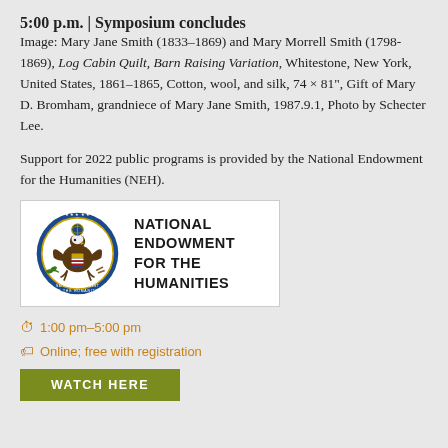5:00 p.m. | Symposium concludes
Image: Mary Jane Smith (1833–1869) and Mary Morrell Smith (1798-1869), Log Cabin Quilt, Barn Raising Variation, Whitestone, New York, United States, 1861–1865, Cotton, wool, and silk, 74 × 81", Gift of Mary D. Bromham, grandniece of Mary Jane Smith, 1987.9.1, Photo by Schecter Lee.
Support for 2022 public programs is provided by the National Endowment for the Humanities (NEH).
[Figure (logo): National Endowment for the Humanities logo with eagle seal on left and organization name in bold text on right]
1:00 pm–5:00 pm
Online; free with registration
WATCH HERE